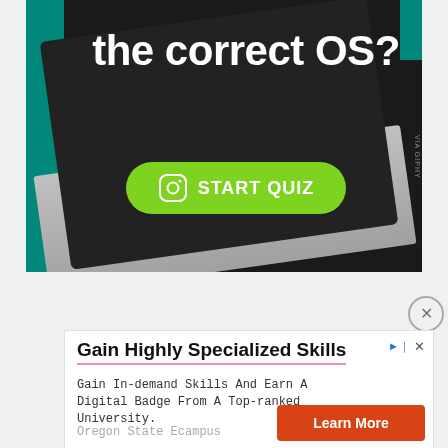[Figure (screenshot): Dark laptop/tablet background with teal accents, large white bold text reading 'the correct OS?' and a green 'START QUIZ' button with camera icon]
[Figure (other): Close (X) button, circular outline with X inside]
Gain Highly Specialized Skills
Gain In-demand Skills And Earn A Digital Badge From A Top-ranked University.
Oregon State Ecampus
Learn More